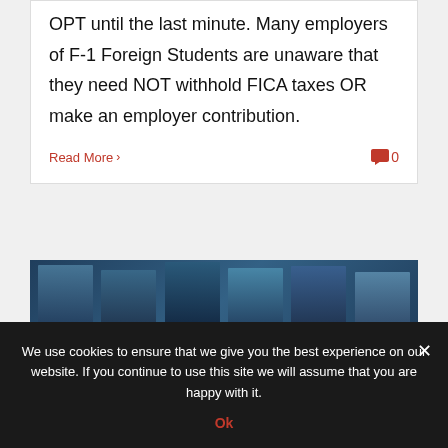OPT until the last minute. Many employers of F-1 Foreign Students are unaware that they need NOT withhold FICA taxes OR make an employer contribution.
Read More > 0
[Figure (photo): A group of business professionals in a meeting environment, shown in a horizontal strip photo]
We use cookies to ensure that we give you the best experience on our website. If you continue to use this site we will assume that you are happy with it. Ok